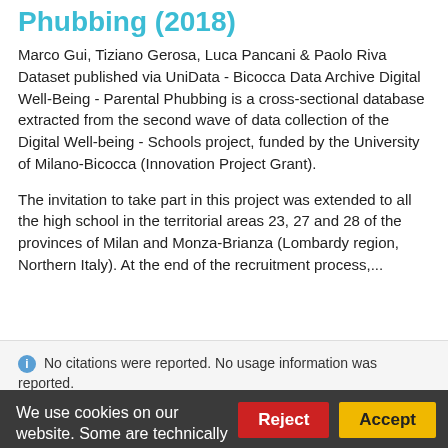Phubbing (2018)
Marco Gui, Tiziano Gerosa, Luca Pancani & Paolo Riva
Dataset published via UniData - Bicocca Data Archive
Digital Well-Being - Parental Phubbing is a cross-sectional database extracted from the second wave of data collection of the Digital Well-being - Schools project, funded by the University of Milano-Bicocca (Innovation Project Grant).
The invitation to take part in this project was extended to all the high school in the territorial areas 23, 27 and 28 of the provinces of Milan and Monza-Brianza (Lombardy region, Northern Italy). At the end of the recruitment process,...
No citations were reported. No usage information was reported.
We use cookies on our website. Some are technically necessary, others help us...